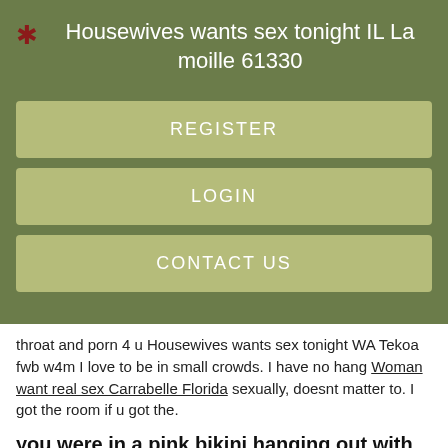Housewives wants sex tonight IL La moille 61330
REGISTER
LOGIN
CONTACT US
throat and porn 4 u Housewives wants sex tonight WA Tekoa fwb w4m I love to be in small crowds. I have no hang Woman want real sex Carrabelle Florida sexually, doesnt matter to. I got the room if u got the.
you were in a pink bikini hanging out with two older women.
What to find on this special. Please come on chatting small